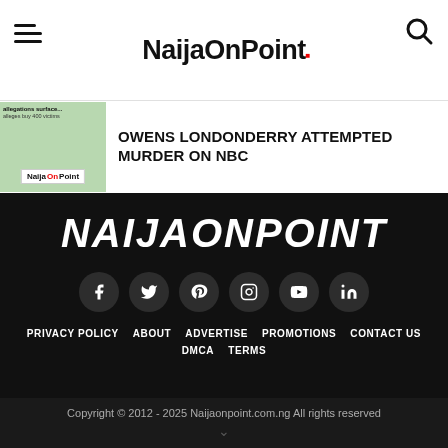NaijaOnPoint
Owens Londonderry Attempted Murder On NBC
[Figure (logo): NaijaOnPoint logo thumbnail with green background]
[Figure (logo): NaijaOnPoint large white italic logo on black background]
[Figure (infographic): Social media icons: Facebook, Twitter, Pinterest, Instagram, YouTube, LinkedIn]
PRIVACY POLICY   ABOUT   ADVERTISE   PROMOTIONS   CONTACT US   DMCA   TERMS
Copyright © 2012 - 2025 Naijaonpoint.com.ng All rights reserved